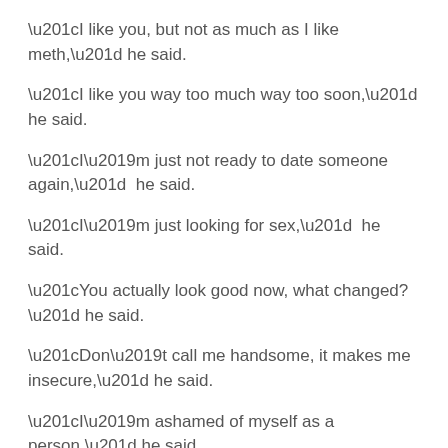“I like you, but not as much as I like meth,” he said.
“I like you way too much way too soon,” he said.
“I’m just not ready to date someone again,”  he said.
“I’m just looking for sex,”  he said.
“You actually look good now, what changed?” he said.
“Don’t call me handsome, it makes me insecure,” he said.
“I’m ashamed of myself as a person,” he said.
“I’ve never dated a therapist. Do you think I have